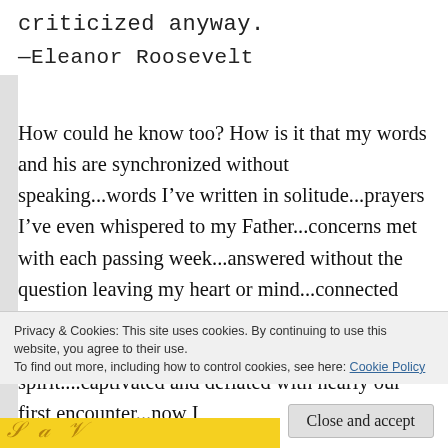criticized anyway.
—Eleanor Roosevelt
How could he know too? How is it that my words and his are synchronized without speaking...words I've written in solitude...prayers I've even whispered to my Father...concerns met with each passing week...answered without the question leaving my heart or mind...connected somehow...inextricably bound even when I resisted the mesh...not one of flesh, but spirit....captivated and deflated with nearly our first encounter...now I
Privacy & Cookies: This site uses cookies. By continuing to use this website, you agree to their use.
To find out more, including how to control cookies, see here: Cookie Policy
Close and accept
[Figure (photo): Yellow strip at the bottom with partial handwritten cursive text visible]